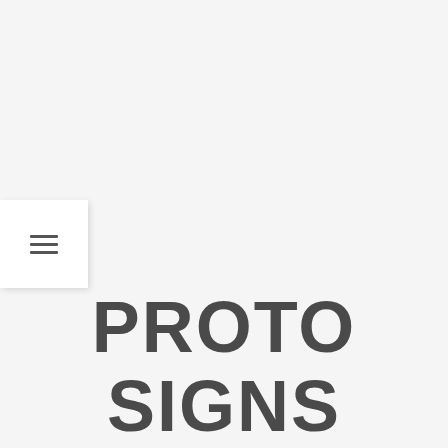[Figure (other): Hamburger menu button icon with three horizontal lines on a white square panel with subtle shadow]
PROTO SIGNS